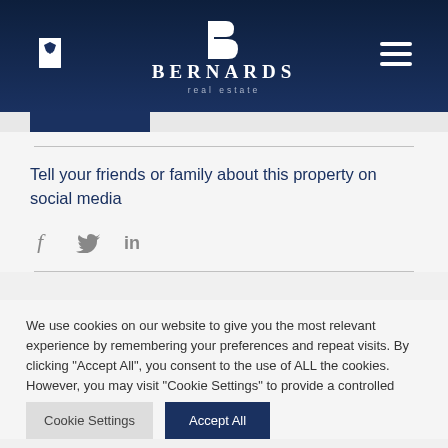[Figure (logo): Bernards Real Estate logo with white B lettermark and text on dark navy background, with bookmark icon on left and hamburger menu icon on right]
Tell your friends or family about this property on social media
[Figure (infographic): Social media share icons: Facebook (f), Twitter (bird), LinkedIn (in) in grey]
We use cookies on our website to give you the most relevant experience by remembering your preferences and repeat visits. By clicking "Accept All", you consent to the use of ALL the cookies. However, you may visit "Cookie Settings" to provide a controlled consent.
Cookie Settings | Accept All